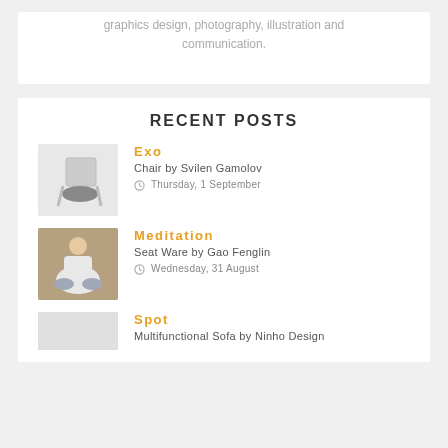graphics design, photography, illustration and communication.
RECENT POSTS
Exo
Chair by Svilen Gamolov
Thursday, 1 September
Meditation
Seat Ware by Gao Fenglin
Wednesday, 31 August
Spot
Multifunctional Sofa by Ninho Design